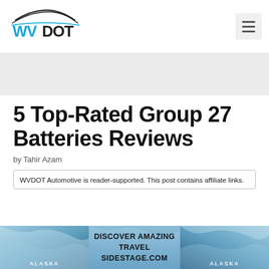[Figure (logo): WVDOT automotive website logo with car silhouette and blue/black text]
[Figure (screenshot): Hamburger menu icon (three horizontal lines) in a gray rounded square button]
5 Top-Rated Group 27 Batteries Reviews
by Tahir Azam
WVDOT Automotive is reader-supported. This post contains affiliate links.
[Figure (photo): Alaska travel advertisement banner showing icy blue landscape with text DISCOVER AMAZING TRAVEL SIDESTAGE.COM]